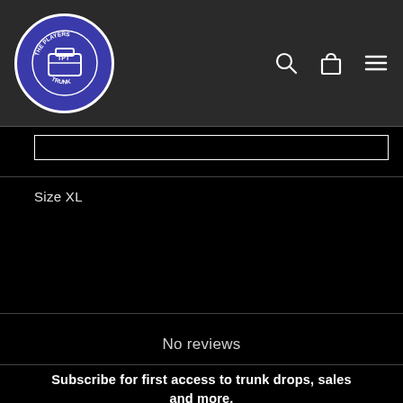The Players Trunk — navigation header with logo, search, cart, and menu icons
Size XL
No reviews
Subscribe for first access to trunk drops, sales and more.